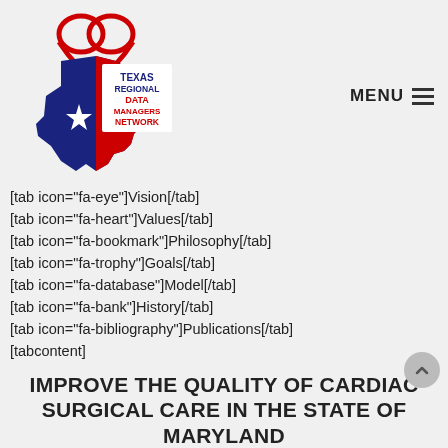[Figure (logo): Texas Regional Data Managers Network logo — Texas state silhouette in blue and red with a white star, red heart outline above, text reading TEXAS REGIONAL DATA MANAGERS NETWORK]
MENU ≡
[tab icon="fa-eye"]Vision[/tab]
[tab icon="fa-heart"]Values[/tab]
[tab icon="fa-bookmark"]Philosophy[/tab]
[tab icon="fa-trophy"]Goals[/tab]
[tab icon="fa-database"]Model[/tab]
[tab icon="fa-bank"]History[/tab]
[tab icon="fa-bibliography"]Publications[/tab]
[tabcontent]
IMPROVE THE QUALITY OF CARDIAC SURGICAL CARE IN THE STATE OF MARYLAND
[/tabcontent]